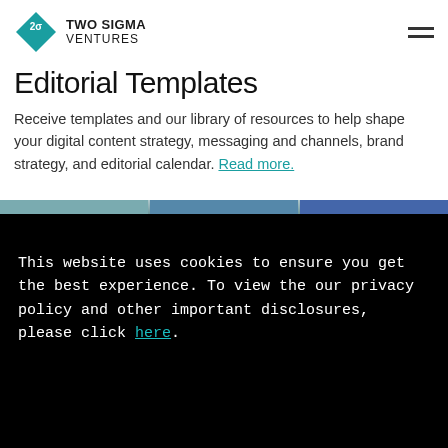TWO SIGMA VENTURES
Editorial Templates
Receive templates and our library of resources to help shape your digital content strategy, messaging and channels, brand strategy, and editorial calendar. Read more.
[Figure (screenshot): Partial image strip showing thumbnail previews of editorial content]
This website uses cookies to ensure you get the best experience. To view the our privacy policy and other important disclosures, please click here.
GOT IT
LEARN MORE →
[Figure (logo): Two Sigma Ventures large diamond watermark logo with 2sigma symbol]